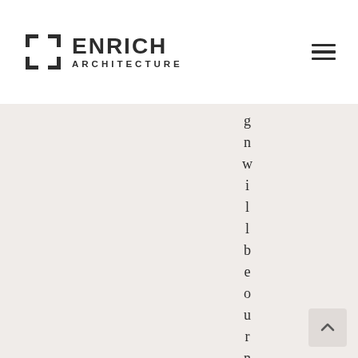[Figure (logo): Enrich Architecture logo with bracket icon and text]
[Figure (other): Hamburger menu icon (three horizontal lines)]
[Figure (screenshot): Light beige content area with vertically arranged letters spelling 'n w i l l b e o u r n e x t g' running top to bottom]
[Figure (other): Back to top button with upward chevron arrow in bottom right corner]